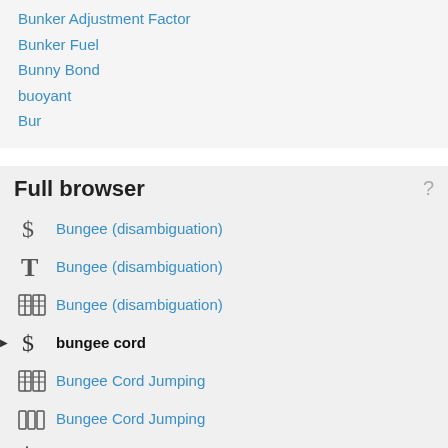Bunker Adjustment Factor
Bunker Fuel
Bunny Bond
buoyant
Bur
Full browser
Bungee (disambiguation)
Bungee (disambiguation)
Bungee (disambiguation)
bungee cord
Bungee Cord Jumping
Bungee Cord Jumping
Bungee Cord Jumping
bungee cords